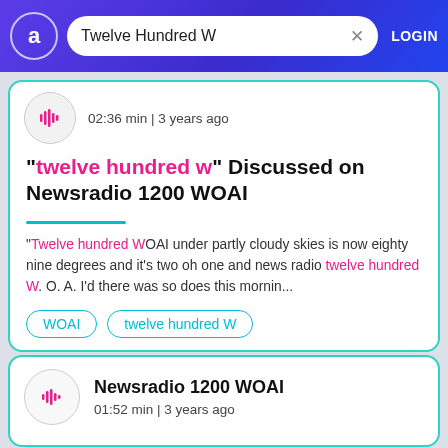Twelve Hundred W  LOGIN
02:36 min | 3 years ago
"twelve hundred w" Discussed on Newsradio 1200 WOAI
"Twelve hundred W OAI under partly cloudy skies is now eighty nine degrees and it's two oh one and news radio twelve hundred W. O. A. I'd there was so does this mornin...
WOAI
twelve hundred W
Newsradio 1200 WOAI
01:52 min | 3 years ago